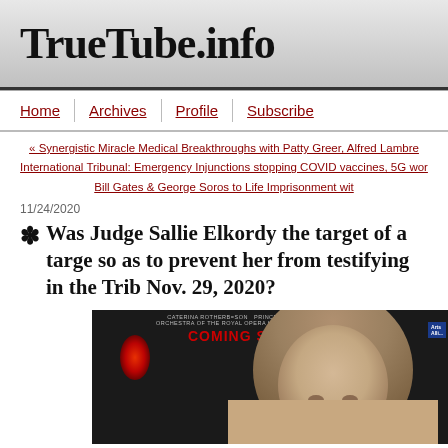TrueTube.info
Home | Archives | Profile | Subscribe
« Synergistic Miracle Medical Breakthroughs with Patty Greer, Alfred Lambre International Tribunal: Emergency Injunctions stopping COVID vaccines, 5G wor Bill Gates & George Soros to Life Imprisonment wit
11/24/2020
Was Judge Sallie Elkordy the target of a targe so as to prevent her from testifying in the Trib Nov. 29, 2020?
[Figure (photo): Photo of a woman with long gray-brown hair in front of a dark background with text overlay reading 'COMING SOON MAS' and 'ORCHESTRA OF THE ROYAL OPERA HOUSE | CONDUCTOR BORIS GRUZIN' with red lighting]